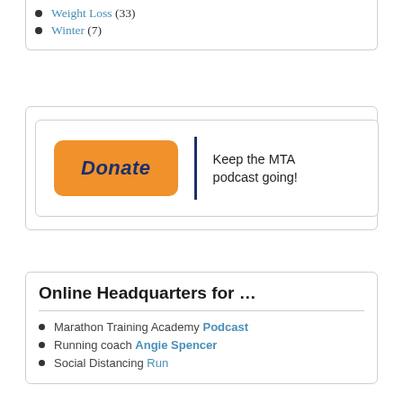Weight Loss (33)
Winter (7)
[Figure (other): Donate button (orange rounded rectangle with italic bold dark blue text 'Donate') beside a dark navy vertical divider line and text 'Keep the MTA podcast going!']
Online Headquarters for …
Marathon Training Academy Podcast
Running coach Angie Spencer
Social Distancing Run